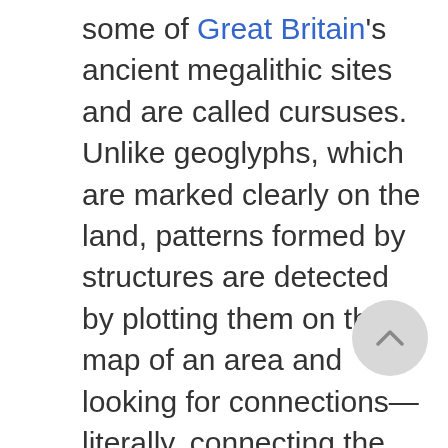some of Great Britain's ancient megalithic sites and are called cursuses. Unlike geoglyphs, which are marked clearly on the land, patterns formed by structures are detected by plotting them on the map of an area and looking for connections—literally, connecting the dots to determine whether or not a pattern emerges.
[Figure (other): A circular scroll-to-top button with an upward-pointing chevron icon, light grey background.]